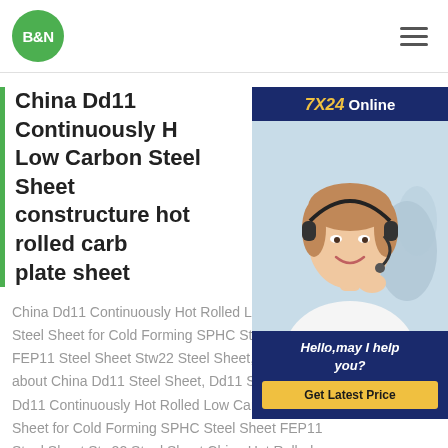B&N
[Figure (photo): Customer service representative wearing a headset, smiling. Chat widget with '7X24 Online', 'Hello,may I help you?' and 'Get Latest Price' button.]
China Dd11 Continuously Hot Rolled Low Carbon Steel Sheet constructure hot rolled carbon plate sheet
China Dd11 Continuously Hot Rolled Low Carbon Steel Sheet for Cold Forming SPHC Steel Sheet FEP11 Steel Sheet Stw22 Steel Sheet, Find details about China Dd11 Steel Sheet, Dd11 Steel from Dd11 Continuously Hot Rolled Low Carbon Steel Sheet for Cold Forming SPHC Steel Sheet FEP11 Steel Sheet Stw22 Steel Sheet China Hot Rolled Carbon Ms Plate, Mild Steel Plate for constructure